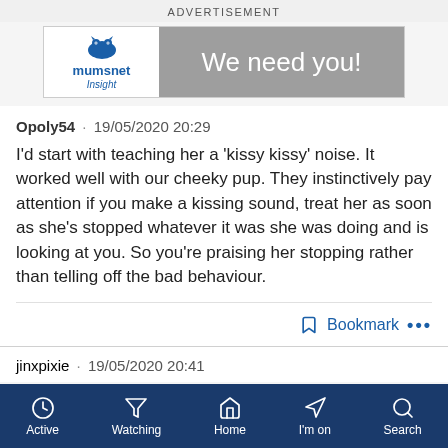ADVERTISEMENT
[Figure (screenshot): Mumsnet Insight advertisement banner with logo on left and 'We need you!' text on grey right side]
Opoly54 · 19/05/2020 20:29
I'd start with teaching her a 'kissy kissy' noise. It worked well with our cheeky pup. They instinctively pay attention if you make a kissing sound, treat her as soon as she's stopped whatever it was she was doing and is looking at you. So you're praising her stopping rather than telling off the bad behaviour.
Bookmark •••
jinxpixie · 19/05/2020 20:41
Active  Watching  Home  I'm on  Search